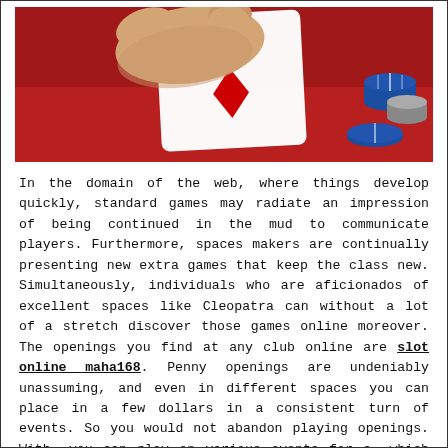[Figure (photo): A hand holding a playing card (showing a red diamond suit) over a red surface with casino chips in the upper right corner.]
In the domain of the web, where things develop quickly, standard games may radiate an impression of being continued in the mud to communicate players. Furthermore, spaces makers are continually presenting new extra games that keep the class new. Simultaneously, individuals who are aficionados of excellent spaces like Cleopatra can without a lot of a stretch discover those games online moreover. The openings you find at any club online are slot online maha168. Penny openings are undeniably unassuming, and even in different spaces you can place in a few dollars in a consistent turn of events. So you would not abandon playing openings. With, you can play on various events for a, which is difficult to beat for interference purposes. Likewise, with openings you could well end the night with as a judi space of cash as when you began despite you were ensured about.